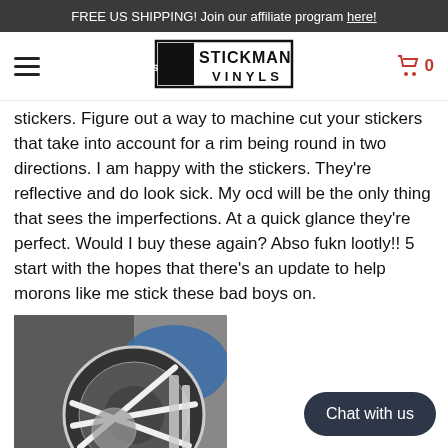FREE US SHIPPING! Join our affiliate program here!
[Figure (screenshot): Stickman Vinyls logo with hamburger menu and shopping cart icon showing 0 items]
stickers. Figure out a way to machine cut your stickers that take into account for a rim being round in two directions. I am happy with the stickers. They're reflective and do look sick. My ocd will be the only thing that sees the imperfections. At a quick glance they're perfect. Would I buy these again? Abso fukn lootly!! 5 start with the hopes that there's an update to help morons like me stick these bad boys on.
[Figure (photo): Photo of a motorcycle wheel/rim with white reflective stickers applied, blue motorcycle body visible]
Motorcycle Rim Wheel Decal Accessory St... M109R
Reflective Silver